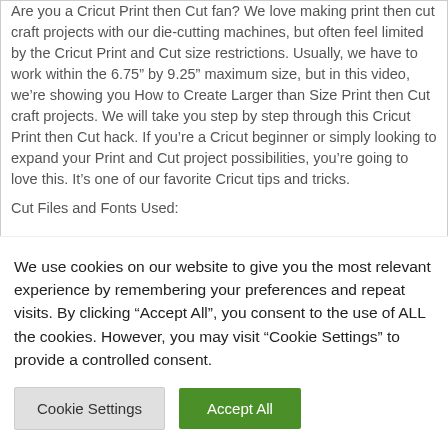Are you a Cricut Print then Cut fan? We love making print then cut craft projects with our die-cutting machines, but often feel limited by the Cricut Print and Cut size restrictions. Usually, we have to work within the 6.75" by 9.25" maximum size, but in this video, we're showing you How to Create Larger than Size Print then Cut craft projects. We will take you step by step through this Cricut Print then Cut hack. If you're a Cricut beginner or simply looking to expand your Print and Cut project possibilities, you're going to love this. It's one of our favorite Cricut tips and tricks.
Cut Files and Fonts Used:
We use cookies on our website to give you the most relevant experience by remembering your preferences and repeat visits. By clicking "Accept All", you consent to the use of ALL the cookies. However, you may visit "Cookie Settings" to provide a controlled consent.